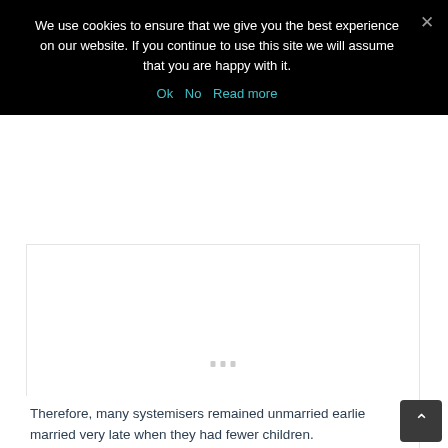We use cookies to ensure that we give you the best experience on our website. If you continue to use this site we will assume that you are happy with it.
Ok   No   Read more
[Figure (other): White content area with loading indicator (three small grey dots/rectangles)]
Therefore, many systemisers remained unmarried earlie married very late when they had fewer children.